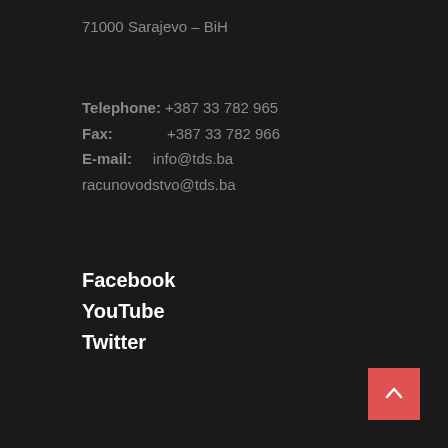71000 Sarajevo – BiH
Telephone: +387 33 782 965
Fax: +387 33 782 966
E-mail: info@tds.ba
racunovodstvo@tds.ba
Facebook
YouTube
Twitter